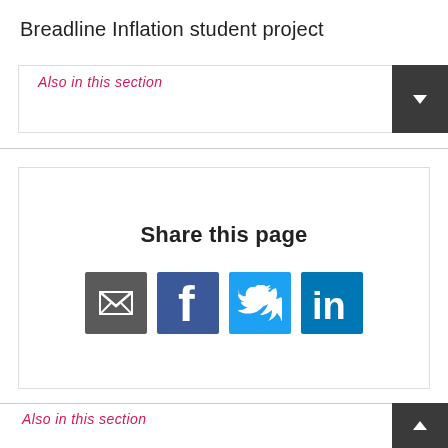Breadline Inflation student project
Also in this section
[Figure (infographic): Share this page panel with email, Facebook, Twitter, and LinkedIn icons]
Also in this section